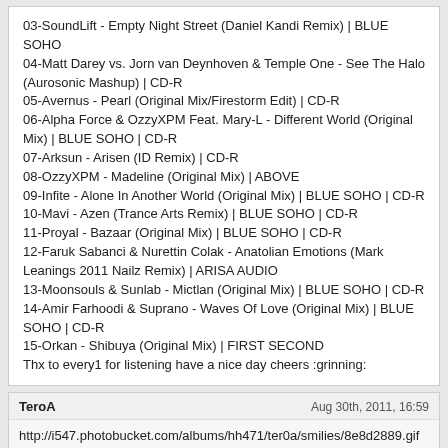03-SoundLift - Empty Night Street (Daniel Kandi Remix) | BLUE SOHO
04-Matt Darey vs. Jorn van Deynhoven & Temple One - See The Halo (Aurosonic Mashup) | CD-R
05-Avernus - Pearl (Original Mix/Firestorm Edit) | CD-R
06-Alpha Force & OzzyXPM Feat. Mary-L - Different World (Original Mix) | BLUE SOHO | CD-R
07-Arksun - Arisen (ID Remix) | CD-R
08-OzzyXPM - Madeline (Original Mix) | ABOVE
09-Infite - Alone In Another World (Original Mix) | BLUE SOHO | CD-R
10-Mavi - Azen (Trance Arts Remix) | BLUE SOHO | CD-R
11-Proyal - Bazaar (Original Mix) | BLUE SOHO | CD-R
12-Faruk Sabanci & Nurettin Colak - Anatolian Emotions (Mark Leanings 2011 Nailz Remix) | ARISA AUDIO
13-Moonsouls & Sunlab - Mictlan (Original Mix) | BLUE SOHO | CD-R
14-Amir Farhoodi & Suprano - Waves Of Love (Original Mix) | BLUE SOHO | CD-R
15-Orkan - Shibuya (Original Mix) | FIRST SECOND
Thx to every1 for listening have a nice day cheers :grinning:
TeroA | Aug 30th, 2011, 16:59
http://i547.photobucket.com/albums/hh471/ter0a/smilies/8e8d2889.gif love this